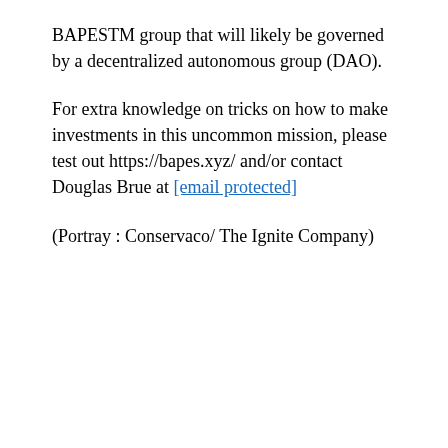BAPESTM group that will likely be governed by a decentralized autonomous group (DAO).
For extra knowledge on tricks on how to make investments in this uncommon mission, please test out https://bapes.xyz/ and/or contact Douglas Brue at [email protected]
(Portray : Conservaco/ The Ignite Company)